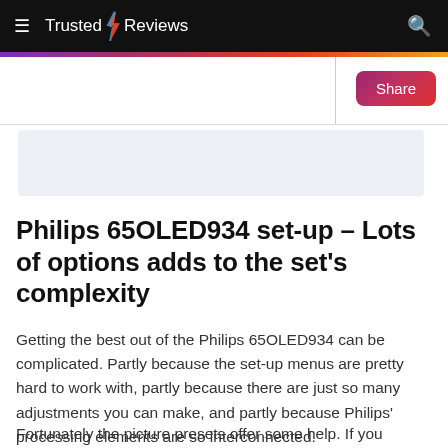Trusted Reviews
[Figure (logo): Trusted Reviews logo with lightning bolt icon on black header bar]
Philips 65OLED934 set-up – Lots of options adds to the set's complexity
Getting the best out of the Philips 65OLED934 can be complicated. Partly because the set-up menus are pretty hard to work with, partly because there are just so many adjustments you can make, and partly because Philips' processing elements are so interconnected.
Fortunately the picture presets offer some help. If you choose Movie, for instance, the TV automatically turns off